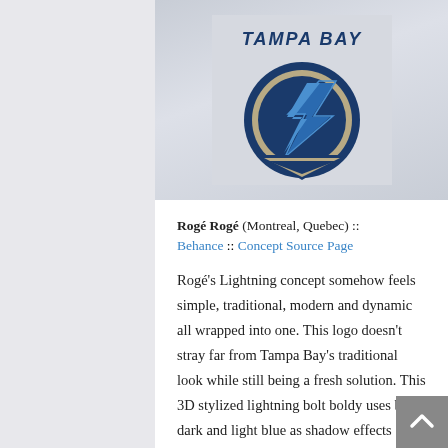[Figure (logo): Tampa Bay Lightning concept logo — circular dark blue and gold badge with a 3D stylized lightning bolt in blue tones, 'TAMPA BAY' text arched above in dark blue]
Rogé Rogé (Montreal, Quebec) :: Behance :: Concept Source Page
Rogé's Lightning concept somehow feels simple, traditional, modern and dynamic all wrapped into one. This logo doesn't stray far from Tampa Bay's traditional look while still being a fresh solution. This 3D stylized lightning bolt boldy uses both dark and light blue as shadow effects on the shapes sharp edges, and most interestingly, fuses the logo's border